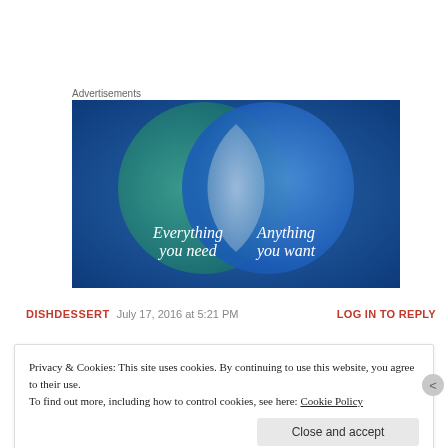Advertisements
[Figure (illustration): Advertisement banner showing two overlapping circles (Venn diagram style) on a blue-green background. Left circle is teal/green with text 'Everything you need', right circle is blue with text 'Anything you want'. The intersection area is lighter/white.]
DISHDESSERT   July 17, 2016 at 5:21 PM   LOG IN TO REPLY
Privacy & Cookies: This site uses cookies. By continuing to use this website, you agree to their use.
To find out more, including how to control cookies, see here: Cookie Policy
Close and accept